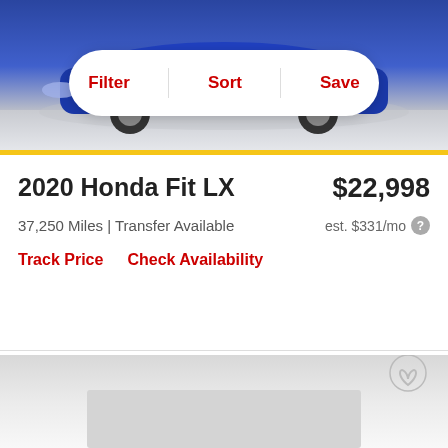[Figure (photo): Blue Honda Fit car photo from front, shown against light gray/white background]
Filter  Sort  Save
2020 Honda Fit LX
$22,998
37,250 Miles | Transfer Available
est. $331/mo
Track Price   Check Availability
[Figure (photo): Second car listing card beginning, gray gradient background with heart/save icon visible]